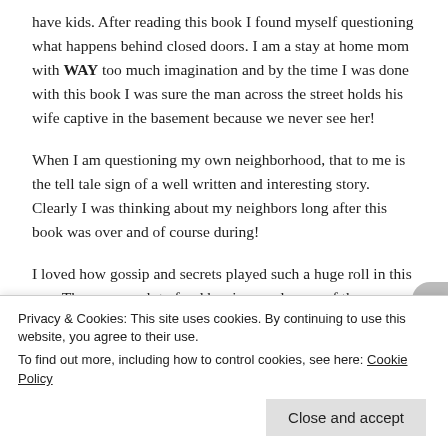have kids. After reading this book I found myself questioning what happens behind closed doors. I am a stay at home mom with WAY too much imagination and by the time I was done with this book I was sure the man across the street holds his wife captive in the basement because we never see her!
When I am questioning my own neighborhood, that to me is the tell tale sign of a well written and interesting story. Clearly I was thinking about my neighbors long after this book was over and of course during!
I loved how gossip and secrets played such a huge roll in this one. There were a lot of red herrings and some of the characters
Privacy & Cookies: This site uses cookies. By continuing to use this website, you agree to their use.
To find out more, including how to control cookies, see here: Cookie Policy
Close and accept